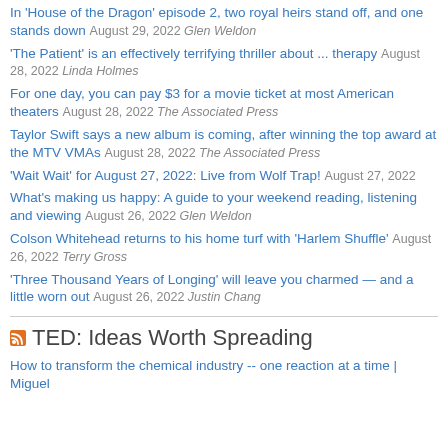In 'House of the Dragon' episode 2, two royal heirs stand off, and one stands down August 29, 2022 Glen Weldon
'The Patient' is an effectively terrifying thriller about ... therapy August 28, 2022 Linda Holmes
For one day, you can pay $3 for a movie ticket at most American theaters August 28, 2022 The Associated Press
Taylor Swift says a new album is coming, after winning the top award at the MTV VMAs August 28, 2022 The Associated Press
'Wait Wait' for August 27, 2022: Live from Wolf Trap! August 27, 2022
What's making us happy: A guide to your weekend reading, listening and viewing August 26, 2022 Glen Weldon
Colson Whitehead returns to his home turf with 'Harlem Shuffle' August 26, 2022 Terry Gross
'Three Thousand Years of Longing' will leave you charmed — and a little worn out August 26, 2022 Justin Chang
TED: Ideas Worth Spreading
How to transform the chemical industry -- one reaction at a time | Miguel